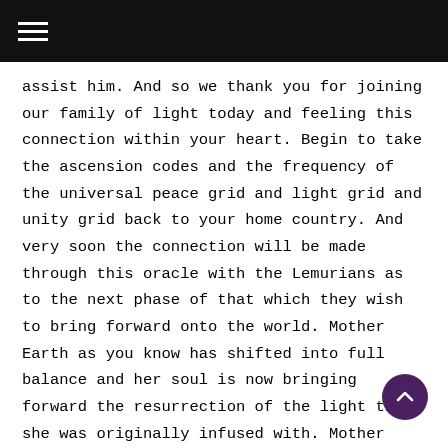≡
assist him. And so we thank you for joining our family of light today and feeling this connection within your heart. Begin to take the ascension codes and the frequency of the universal peace grid and light grid and unity grid back to your home country. And very soon the connection will be made through this oracle with the Lemurians as to the next phase of that which they wish to bring forward onto the world. Mother Earth as you know has shifted into full balance and her soul is now bringing forward the resurrection of the light that she was originally infused with. Mother Earth is going through a resurrection process and as we have told you, the balance of the soul, of the Earth Mother, is now bringing forward the change and the transition and the